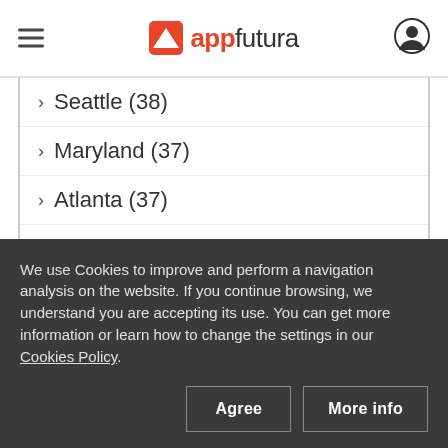appfutura
Seattle (38)
Maryland (37)
Atlanta (37)
Houston (34)
Boston (34)
Portland (31)
Philadelphia (31)
We use Cookies to improve and perform a navigation analysis on the website. If you continue browsing, we understand you are accepting its use. You can get more information or learn how to change the settings in our Cookies Policy.